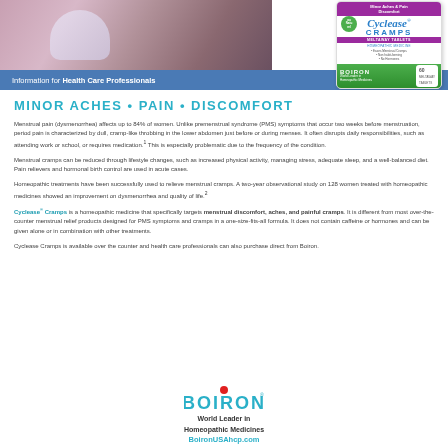[Figure (photo): Top banner with photo of healthcare professional and patient on left, blue bar at bottom reading 'Information for Health Care Professionals', and Cyclease Cramps product box on right]
MINOR ACHES • PAIN • DISCOMFORT
Menstrual pain (dysmenorrhea) affects up to 84% of women. Unlike premenstrual syndrome (PMS) symptoms that occur two weeks before menstruation, period pain is characterized by dull, cramp-like throbbing in the lower abdomen just before or during menses. It often disrupts daily responsibilities, such as attending work or school, or requires medication.1 This is especially problematic due to the frequency of the condition.
Menstrual cramps can be reduced through lifestyle changes, such as increased physical activity, managing stress, adequate sleep, and a well-balanced diet. Pain relievers and hormonal birth control are used in acute cases.
Homeopathic treatments have been successfully used to relieve menstrual cramps. A two-year observational study on 128 women treated with homeopathic medicines showed an improvement on dysmenorrhea and quality of life.2
Cyclease® Cramps is a homeopathic medicine that specifically targets menstrual discomfort, aches, and painful cramps. It is different from most over-the-counter menstrual relief products designed for PMS symptoms and cramps in a one-size-fits-all formula. It does not contain caffeine or hormones and can be given alone or in combination with other treatments.
Cyclease Cramps is available over the counter and health care professionals can also purchase direct from Boiron.
[Figure (logo): Boiron logo with red dot above I, tagline World Leader in Homeopathic Medicines, and website BoironUSAhcp.com]